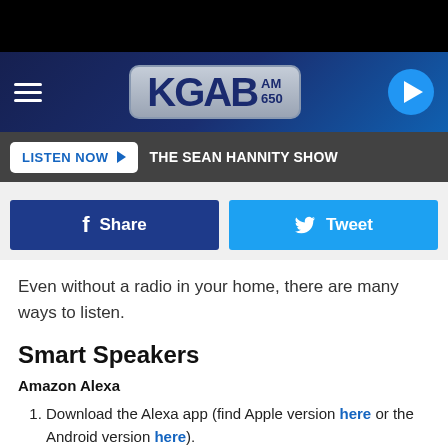[Figure (screenshot): KGAB AM 650 radio station website screenshot showing navigation header with logo, listen now bar with The Sean Hannity Show, social share buttons, and article content about listening options.]
LISTEN NOW  THE SEAN HANNITY SHOW
Share  Tweet
Even without a radio in your home, there are many ways to listen.
Smart Speakers
Amazon Alexa
1. Download the Alexa app (find Apple version here or the Android version here).
2. Select "Skills" from the main menu of the app
3. Search for KGAB. Tap on the station logo to get the